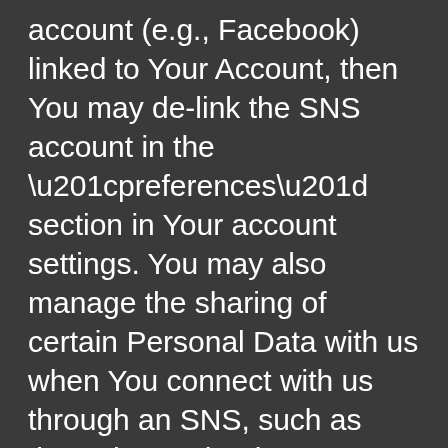account (e.g., Facebook) linked to Your Account, then You may de-link the SNS account in the “preferences” section in Your account settings. You may also manage the sharing of certain Personal Data with us when You connect with us through an SNS, such as through Facebook Connect. Please refer to the privacy settings of the SNS to determine how You may adjust Our permissions and manage the interactivity between the Service and Your social media account or mobile device.